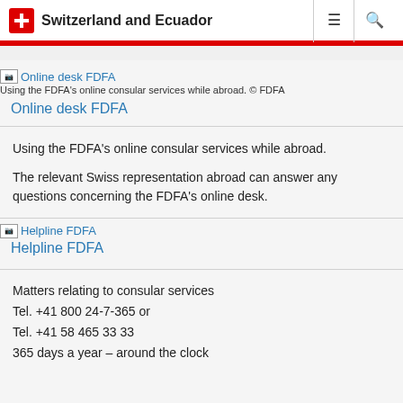Switzerland and Ecuador
[Figure (illustration): Broken image icon labeled 'Online desk FDFA']
Using the FDFA's online consular services while abroad. © FDFA
Online desk FDFA
Using the FDFA's online consular services while abroad.

The relevant Swiss representation abroad can answer any questions concerning the FDFA's online desk.
[Figure (illustration): Broken image icon labeled 'Helpline FDFA']
Helpline FDFA
Matters relating to consular services
Tel. +41 800 24-7-365 or
Tel. +41 58 465 33 33
365 days a year – around the clock